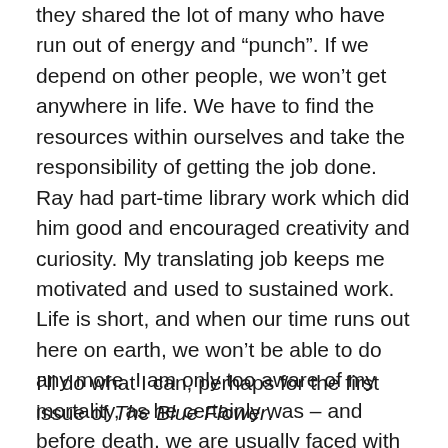they shared the lot of many who have run out of energy and “punch”. If we depend on other people, we won’t get anywhere in life. We have to find the resources within ourselves and take the responsibility of getting the job done. Ray had part-time library work which did him good and encouraged creativity and curiosity. My translating job keeps me motivated and used to sustained work. Life is short, and when our time runs out here on earth, we won’t be able to do any more. I am only too aware of my mortality, as he certainly was – and before death, we are usually faced with declining health, eyes that need stronger glasses, inability to concentrate, the list is endless.
I’ll do what I can, perhaps for the first issue of The Blue Flower.